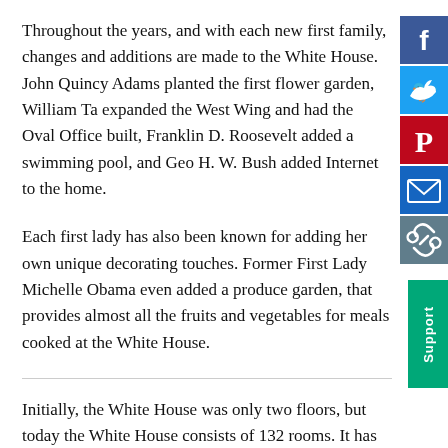Throughout the years, and with each new first family, changes and additions are made to the White House. John Quincy Adams planted the first flower garden, William Ta expanded the West Wing and had the Oval Office built, Franklin D. Roosevelt added a swimming pool, and Geo H. W. Bush added Internet to the home.
Each first lady has also been known for adding her own unique decorating touches. Former First Lady Michelle Obama even added a produce garden, that provides almost all the fruits and vegetables for meals cooked at the White House.
Initially, the White House was only two floors, but today the White House consists of 132 rooms. It has six floors, two basements, two floors open to the public, and two private floors where the first family lives.
The house is divided into the occupations and to be in a...